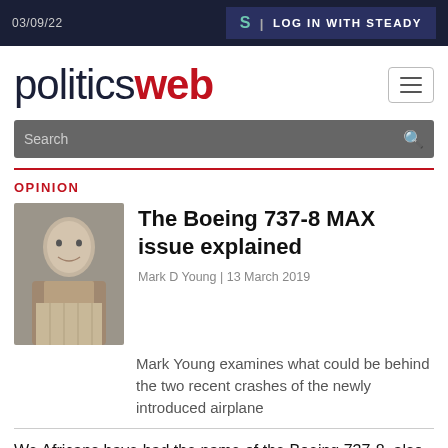03/09/22 | LOG IN WITH STEADY
politicsweb
Search
OPINION
[Figure (photo): Portrait photo of Mark D Young, a middle-aged man with grey hair, wearing a collared shirt]
The Boeing 737-8 MAX issue explained
Mark D Young | 13 March 2019
Mark Young examines what could be behind the two recent crashes of the newly introduced airplane
We Africans have had the name of the Boeing 737-8, also called the 737 MAX, vividly engraved on our collective psyche in the past